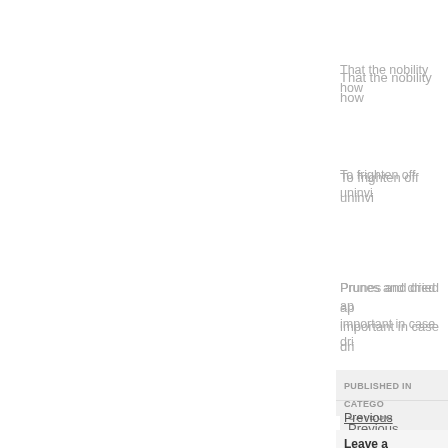That the nobility how
To frighten off uninvi
Prunes and dried ap important in case dri
PUBLISHED IN CATEGO
Previous article(Amusin
Leave a comment: